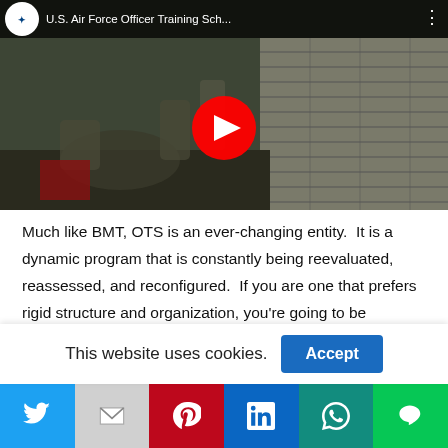[Figure (screenshot): YouTube video thumbnail showing U.S. Air Force Officer Training School video with soldiers doing physical training. Video title bar at top with US Air Force logo and text 'U.S. Air Force Officer Training Sch...' with three-dot menu. Red YouTube play button in center over military training scene.]
Much like BMT, OTS is an ever-changing entity.  It is a dynamic program that is constantly being reevaluated, reassessed, and reconfigured.  If you are one that prefers rigid structure and organization, you're going to be challenged while at OTS.  Semper
This website uses cookies.
Accept
[Figure (infographic): Social media sharing bar with icons: Twitter (blue), Gmail (grey), Pinterest (red), LinkedIn (blue), WhatsApp (teal), Line (green)]